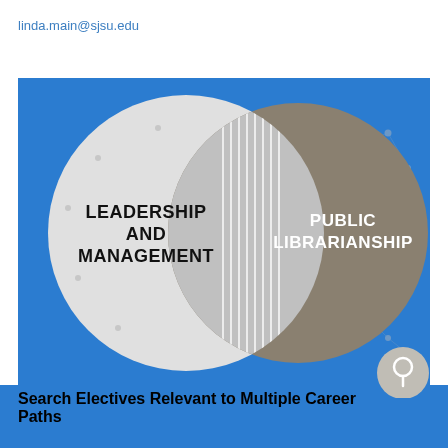linda.main@sjsu.edu
[Figure (infographic): Venn diagram on blue background showing two overlapping circles: left circle is light gray labeled 'LEADERSHIP AND MANAGEMENT', right circle is dark gray/brown labeled 'PUBLIC LIBRARIANSHIP'. The overlapping region has horizontal white lines. The background is bright blue with network dot patterns on the right circle. A small gray circle with a search/location icon appears in the bottom right corner.]
Search Electives Relevant to Multiple Career Paths